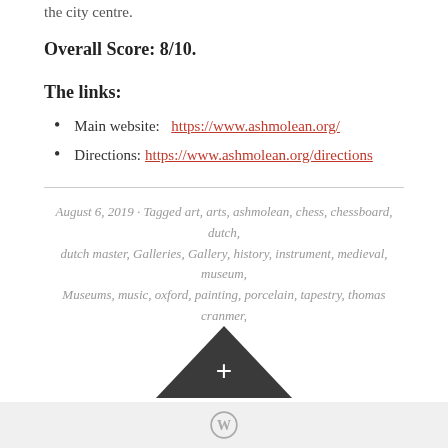the city centre.
Overall Score: 8/10.
The links:
Main website:  https://www.ashmolean.org/
Directions:  https://www.ashmolean.org/directions
August 6, 2019 · Tagged art, arts, ashmolean, chess, chessboard, dutch, dutch master, Galleries, Gallery, history, instrument, medieval, museum, Museums, music, oxford, painting, porcelain, tapestry, thomas cranmer, tudor, viol · 3 Comments
[Figure (other): Dark triangle/arrow pointing up with a plus sign, above a WordPress footer with WordPress logo]